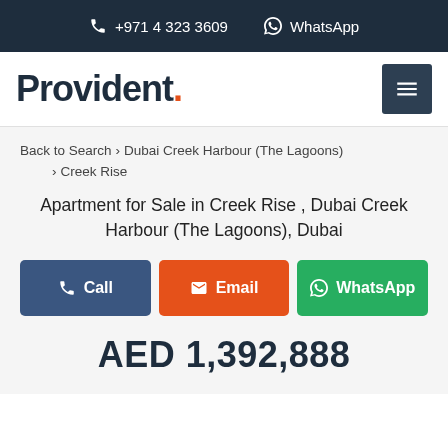+971 4 323 3609  WhatsApp
[Figure (logo): Provident. logo with orange period]
Back to Search > Dubai Creek Harbour (The Lagoons) > Creek Rise
Apartment for Sale in Creek Rise , Dubai Creek Harbour (The Lagoons), Dubai
Call  Email  WhatsApp
AED 1,392,888